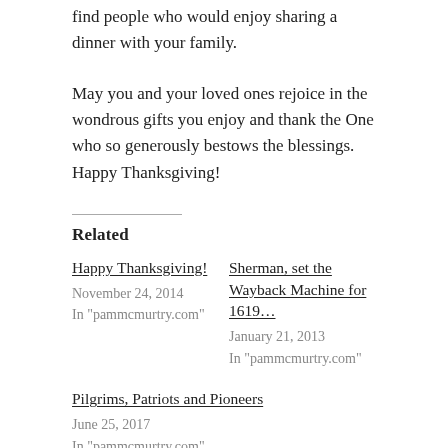find people who would enjoy sharing a dinner with your family.
May you and your loved ones rejoice in the wondrous gifts you enjoy and thank the One who so generously bestows the blessings. Happy Thanksgiving!
Related
Happy Thanksgiving!
November 24, 2014
In "pammcmurtry.com"
Sherman, set the Wayback Machine for 1619…
January 21, 2013
In "pammcmurtry.com"
Pilgrims, Patriots and Pioneers
June 25, 2017
In "pammcmurtry.com"